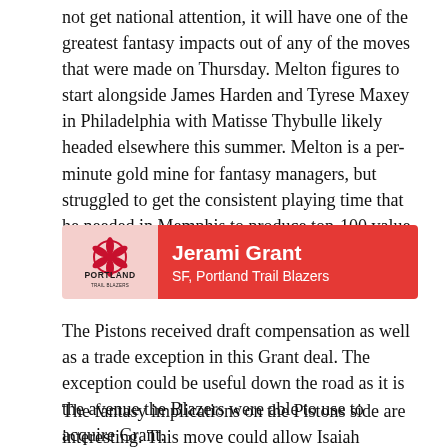not get national attention, it will have one of the greatest fantasy impacts out of any of the moves that were made on Thursday. Melton figures to start alongside James Harden and Tyrese Maxey in Philadelphia with Matisse Thybulle likely headed elsewhere this summer. Melton is a per-minute gold mine for fantasy managers, but struggled to get the consistent playing time that he needed in Memphis to produce top-100 value.
[Figure (infographic): Portland Trail Blazers player card showing Jerami Grant, SF, Portland Trail Blazers]
The Pistons received draft compensation as well as a trade exception in this Grant deal. The exception could be useful down the road as it is the avenue the Blazers were able to use to acquire Grant.
The fantasy implications on the Pistons side are interesting. This move could allow Isaiah Stewart to slide down and see more minutes at PF, a position that Grant